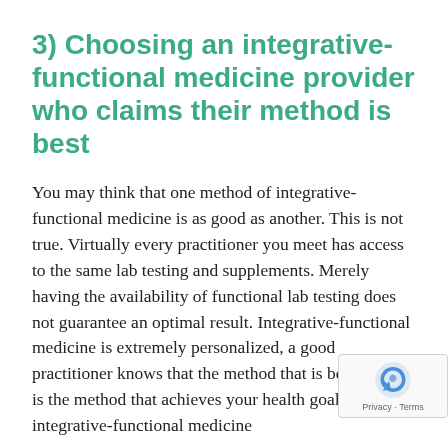3) Choosing an integrative-functional medicine provider who claims their method is best
You may think that one method of integrative-functional medicine is as good as another. This is not true. Virtually every practitioner you meet has access to the same lab testing and supplements. Merely having the availability of functional lab testing does not guarantee an optimal result. Integrative-functional medicine is extremely personalized, a good practitioner knows that the method that is best for you, is the method that achieves your health goals. Skilled integrative-functional medicine